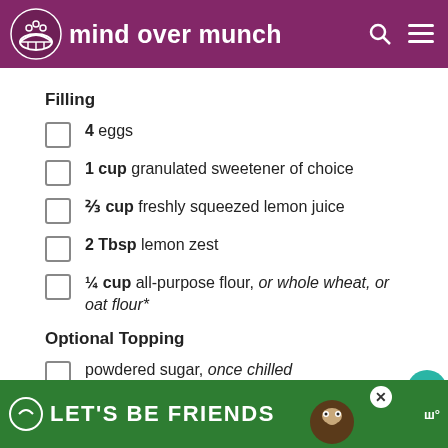mind over munch
Filling
4 eggs
1 cup granulated sweetener of choice
⅔ cup freshly squeezed lemon juice
2 Tbsp lemon zest
¼ cup all-purpose flour, or whole wheat, or oat flour*
Optional Topping
powdered sugar, once chilled
LET'S BE FRIENDS